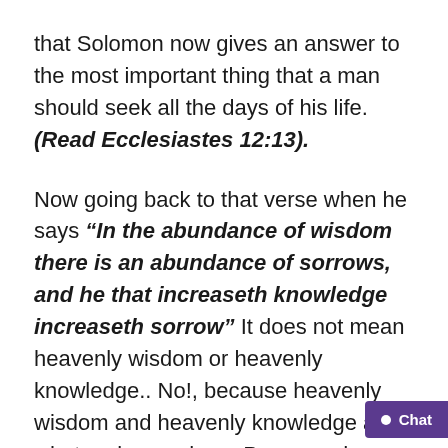that Solomon now gives an answer to the most important thing that a man should seek all the days of his life. (Read Ecclesiastes 12:13).
Now going back to that verse when he says “In the abundance of wisdom there is an abundance of sorrows, and he that increaseth knowledge increaseth sorrow” It does not mean heavenly wisdom or heavenly knowledge.. No!, because heavenly wisdom and heavenly knowledge are what make one have Peace and